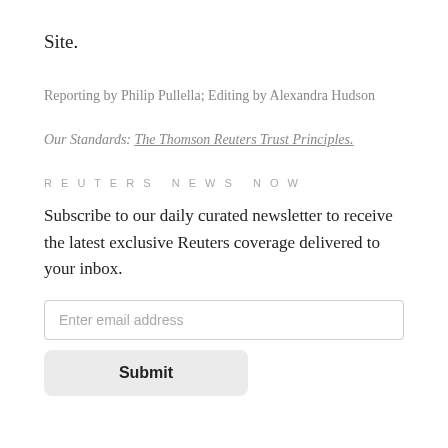Site.
Reporting by Philip Pullella; Editing by Alexandra Hudson
Our Standards: The Thomson Reuters Trust Principles.
REUTERS NEWS NOW
Subscribe to our daily curated newsletter to receive the latest exclusive Reuters coverage delivered to your inbox.
Enter email address
Submit